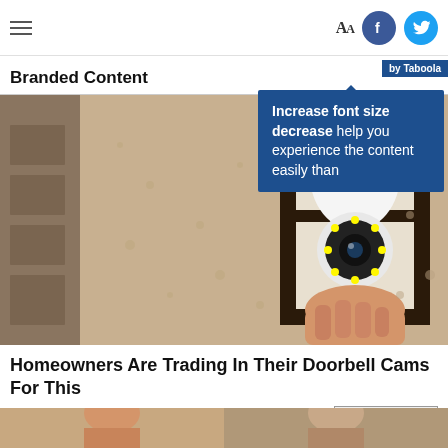Aa [Facebook] [Twitter]
Branded Content
Increase font size decrease help you experience the content easily than
[Figure (photo): A person installing a light bulb security camera into an outdoor wall lantern fixture mounted on a stucco wall.]
Homeowners Are Trading In Their Doorbell Cams For This
Camerca
Learn More
[Figure (photo): Bottom strip showing partial images, appears to be people.]